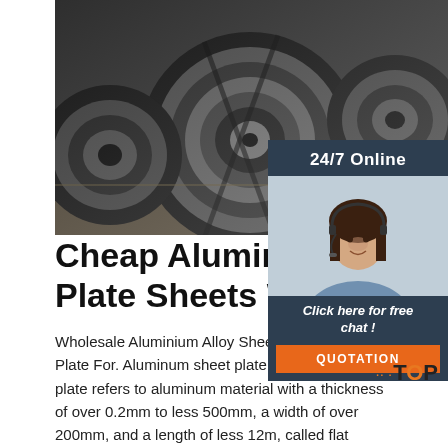[Figure (photo): Large industrial steel/aluminum coil rolls stacked in a warehouse, dark metallic appearance]
[Figure (infographic): Chat widget overlay showing '24/7 Online' header, a female customer service representative wearing a headset smiling, 'Click here for free chat!' text, and an orange QUOTATION button]
Cheap Aluminum Alum Plate Sheets Wholesale
Wholesale Aluminium Alloy Sheet Metal Aluminum Plate For. Aluminum sheet plate. Aluminum sheet plate refers to aluminum material with a thickness of over 0.2mm to less 500mm, a width of over 200mm, and a length of less 12m, called flat aluminum sheets or plain aluminum plates, the